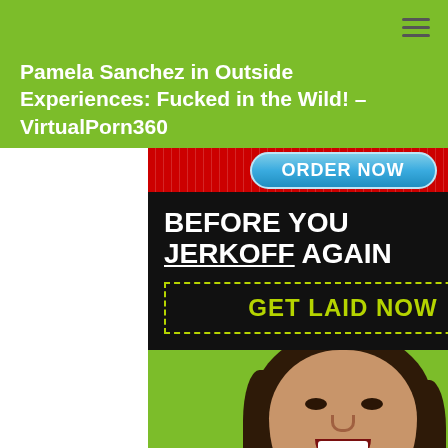Pamela Sanchez in Outside Experiences: Fucked in the Wild! – VirtualPorn360
[Figure (advertisement): Advertisement banner with ORDER NOW button, text BEFORE YOU JERKOFF AGAIN, GET LAID NOW CTA, and woman's photo below]